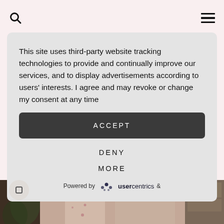This site uses third-party website tracking technologies to provide and continually improve our services, and to display advertisements according to users' interests. I agree and may revoke or change my consent at any time
ACCEPT
DENY
MORE
Powered by usercentrics &
[Figure (photo): Fashion photo strip showing women in floral dresses in an outdoor setting]